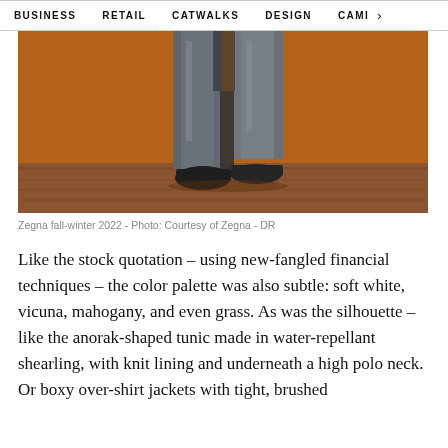BUSINESS   RETAIL   CATWALKS   DESIGN   CAMI  >
[Figure (photo): Zegna fall-winter 2022 fashion photo showing legs in wide grey tailored trousers and black leather shoes, standing on a wooden floor against an orange-brown background.]
Zegna fall-winter 2022 - Photo: Courtesy of Zegna - DR
Like the stock quotation – using new-fangled financial techniques – the color palette was also subtle: soft white, vicuna, mahogany, and even grass. As was the silhouette – like the anorak-shaped tunic made in water-repellant shearling, with knit lining and underneath a high polo neck. Or boxy over-shirt jackets with tight, brushed